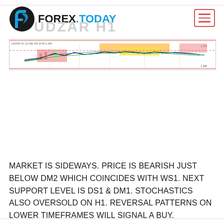[Figure (logo): Forex.Today logo with circular black and blue icon on the left and FOREX.TODAY text in black and blue]
[Figure (other): Horizontal forex/financial chart showing UDZAR H1 with colored candlestick regions, orange and pink highlighted zones, and multiple overlaid indicator lines]
MARKET IS SIDEWAYS. PRICE IS BEARISH JUST BELOW DM2 WHICH COINCIDES WITH WS1. NEXT SUPPORT LEVEL IS DS1 & DM1. STOCHASTICS ALSO OVERSOLD ON H1. REVERSAL PATTERNS ON LOWER TIMEFRAMES WILL SIGNAL A BUY.